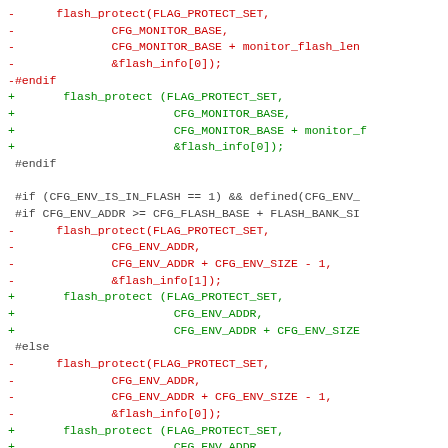Diff/patch code showing changes to flash_protect calls in C source